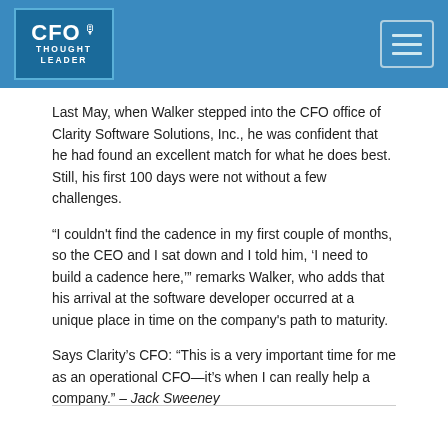CFO THOUGHT LEADER
Last May, when Walker stepped into the CFO office of Clarity Software Solutions, Inc., he was confident that he had found an excellent match for what he does best. Still, his first 100 days were not without a few challenges.
“I couldn't find the cadence in my first couple of months, so the CEO and I sat down and I told him, ‘I need to build a cadence here,’” remarks Walker, who adds that his arrival at the software developer occurred at a unique place in time on the company's path to maturity.
Says Clarity’s CFO: “This is a very important time for me as an operational CFO—it’s when I can really help a company.” – Jack Sweeney